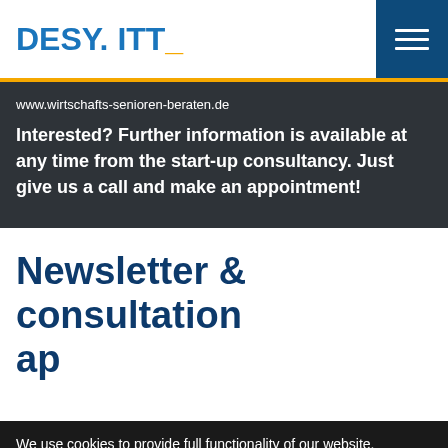DESY. ITT_
www.wirtschafts-senioren-beraten.de
Interested? Further information is available at any time from the start-up consultancy. Just give us a call and make an appointment!
Newsletter & consultation ap
We use cookies to provide full functionality of our website. OK  More information